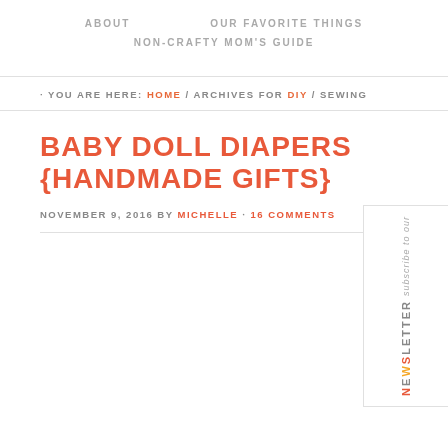ABOUT    OUR FAVORITE THINGS
NON-CRAFTY MOM'S GUIDE
· YOU ARE HERE: HOME / ARCHIVES FOR DIY / SEWING
BABY DOLL DIAPERS {HANDMADE GIFTS}
NOVEMBER 9, 2016 BY MICHELLE · 16 COMMENTS
[Figure (infographic): Subscribe to our newsletter vertical sidebar widget with stylized text]